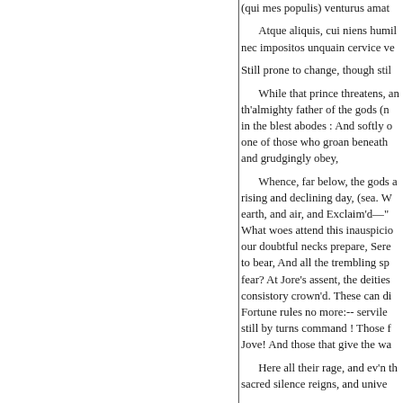(qui mes populis) venturus amat
Atque aliquis, cui niens humil nec impositos unquain cervice ve
Still prone to change, though stil
While that prince threatens, an th'almighty father of the gods (n in the blest abodes : And softly o one of those who groan beneath and grudgingly obey,
Whence, far below, the gods a rising and declining day, (sea. W earth, and air, and Exclaim'd—" What woes attend this inauspicio our doubtful necks prepare, Sere to bear, And all the trembling sp fear? At Jore's assent, the deities consistory crown'd. These can di Fortune rules no more:-- servile still by turns command ! Those f Jove! And those that give the wa
Here all their rage, and ev'n th sacred silence reigns, and unive